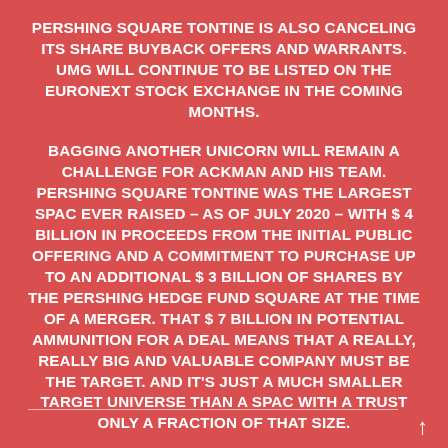PERSHING SQUARE TONTINE IS ALSO CANCELING ITS SHARE BUYBACK OFFERS AND WARRANTS. UMG WILL CONTINUE TO BE LISTED ON THE EURONEXT STOCK EXCHANGE IN THE COMING MONTHS.
BAGGING ANOTHER UNICORN WILL REMAIN A CHALLENGE FOR ACKMAN AND HIS TEAM. PERSHING SQUARE TONTINE WAS THE LARGEST SPAC EVER RAISED – AS OF JULY 2020 – WITH $ 4 BILLION IN PROCEEDS FROM THE INITIAL PUBLIC OFFERING AND A COMMITMENT TO PURCHASE UP TO AN ADDITIONAL $ 3 BILLION OF SHARES BY THE PERSHING HEDGE FUND SQUARE AT THE TIME OF A MERGER. THAT $ 7 BILLION IN POTENTIAL AMMUNITION FOR A DEAL MEANS THAT A REALLY, REALLY BIG AND VALUABLE COMPANY MUST BE THE TARGET. AND IT'S JUST A MUCH SMALLER TARGET UNIVERSE THAN A SPAC WITH A TRUST ONLY A FRACTION OF THAT SIZE.